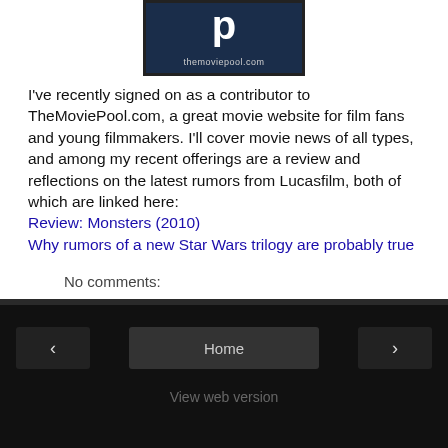[Figure (logo): TheMoviePool.com logo — dark blue background with large white 'p' letter and 'themoviepool.com' text below]
I've recently signed on as a contributor to TheMoviePool.com, a great movie website for film fans and young filmmakers. I'll cover movie news of all types, and among my recent offerings are a review and reflections on the latest rumors from Lucasfilm, both of which are linked here:
Review: Monsters (2010)
Why rumors of a new Star Wars trilogy are probably true
No comments:
Share
‹   Home   ›
View web version